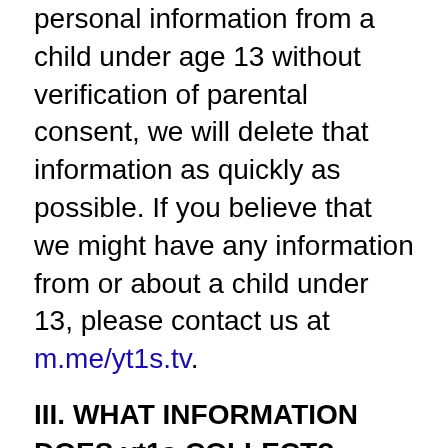personal information from a child under age 13 without verification of parental consent, we will delete that information as quickly as possible. If you believe that we might have any information from or about a child under 13, please contact us at m.me/yt1s.tv.
III. WHAT INFORMATION DOES yt1s COLLECT?
The information we collect can be generally placed in two categories: 1) data on how the user uses our Services; 2) aggregate data on content the user engages with. We may use this information to personalize and improve our services, to fulfill your requests for certain products and services, and to analyze how you use the Services. We may provide this information to our partners, so that they, too, can provide you with an optimal experience, but we never disclose information to a partner in a manner that would identify you personally. Here are a few examples of data we collect when you use our Services: